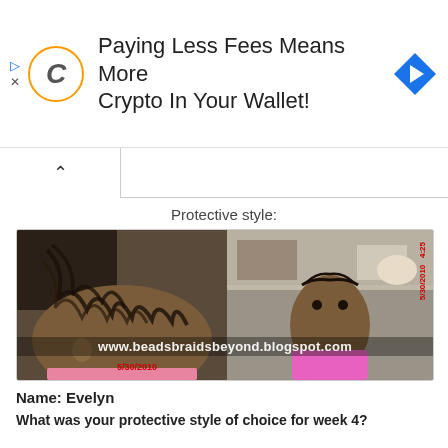[Figure (screenshot): Advertisement banner: logo with orange circle containing italic C, text 'Paying Less Fees Means More Crypto In Your Wallet!', blue diamond arrow icon on right, play and X icons on left]
[Figure (photo): Two side-by-side photos of a young girl showing braided protective hairstyle. Left photo shows close-up of braids from side. Right photo shows full face view. Watermark reads www.beadsbraidsbeyond.blogspot.com with date 5/30/2010.]
Protective style:
Name: Evelyn
What was your protective style of choice for week 4?